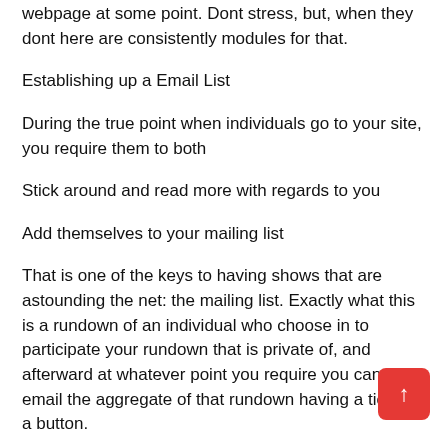webpage at some point. Dont stress, but, when they dont here are consistently modules for that.
Establishing up a Email List
During the true point when individuals go to your site, you require them to both
Stick around and read more with regards to you
Add themselves to your mailing list
That is one of the keys to having shows that are astounding the net: the mailing list. Exactly what this is a rundown of an individual who choose in to participate your rundown that is private of, and afterward at whatever point you require you can email the aggregate of that rundown having a tick of a button.